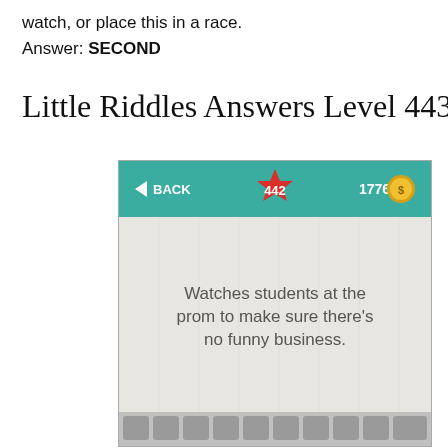watch, or place this in a race.
Answer: SECOND
Little Riddles Answers Level 443
[Figure (screenshot): Mobile app screenshot showing Little Riddles game at level 442 with 1776 coins. The riddle reads: Watches students at the prom to make sure there's no funny business. A teal header bar shows a back button, level badge '442', and coin count '1776'. Below is a light gray content area with letter tiles at the bottom.]